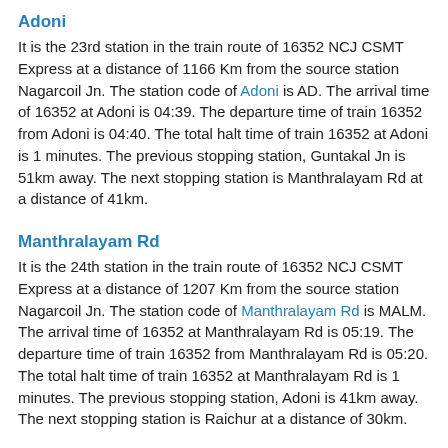Adoni
It is the 23rd station in the train route of 16352 NCJ CSMT Express at a distance of 1166 Km from the source station Nagarcoil Jn. The station code of Adoni is AD. The arrival time of 16352 at Adoni is 04:39. The departure time of train 16352 from Adoni is 04:40. The total halt time of train 16352 at Adoni is 1 minutes. The previous stopping station, Guntakal Jn is 51km away. The next stopping station is Manthralayam Rd at a distance of 41km.
Manthralayam Rd
It is the 24th station in the train route of 16352 NCJ CSMT Express at a distance of 1207 Km from the source station Nagarcoil Jn. The station code of Manthralayam Rd is MALM. The arrival time of 16352 at Manthralayam Rd is 05:19. The departure time of train 16352 from Manthralayam Rd is 05:20. The total halt time of train 16352 at Manthralayam Rd is 1 minutes. The previous stopping station, Adoni is 41km away. The next stopping station is Raichur at a distance of 30km.
Raichur